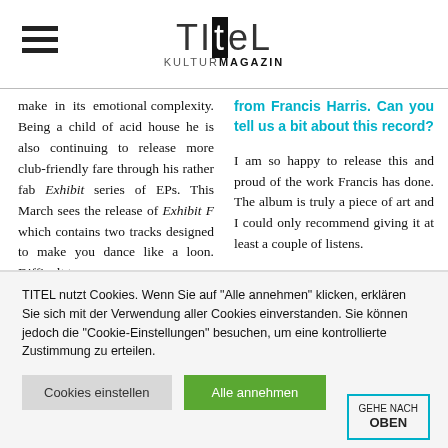TITEL kulturmagazin
make in its emotional complexity. Being a child of acid house he is also continuing to release more club-friendly fare through his rather fab Exhibit series of EPs. This March sees the release of Exhibit F which contains two tracks designed to make you dance like a loon. Difficult to
from Francis Harris. Can you tell us a bit about this record?

I am so happy to release this and proud of the work Francis has done. The album is truly a piece of art and I could only recommend giving it at least a couple of listens.
TITEL nutzt Cookies. Wenn Sie auf "Alle annehmen" klicken, erklären Sie sich mit der Verwendung aller Cookies einverstanden. Sie können jedoch die "Cookie-Einstellungen" besuchen, um eine kontrollierte Zustimmung zu erteilen.